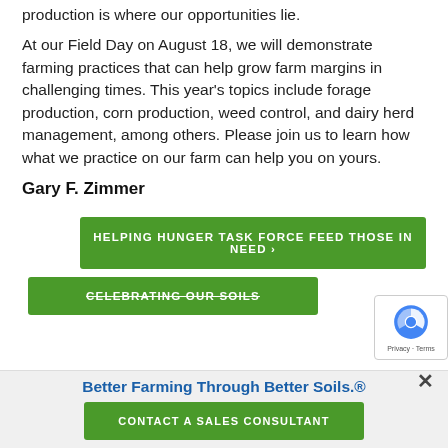production is where our opportunities lie.
At our Field Day on August 18, we will demonstrate farming practices that can help grow farm margins in challenging times. This year's topics include forage production, corn production, weed control, and dairy herd management, among others. Please join us to learn how what we practice on our farm can help you on yours.
Gary F. Zimmer
HELPING HUNGER TASK FORCE FEED THOSE IN NEED ›
CELEBRATING OUR SOILS
Better Farming Through Better Soils.®
CONTACT A SALES CONSULTANT